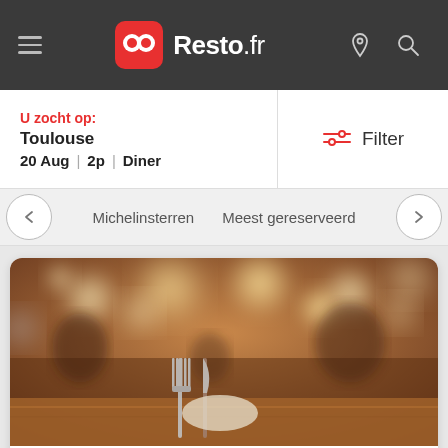Resto.fr
U zocht op: Toulouse 20 Aug | 2p | Diner
Filter
Michelinsterren    Meest gereserveerd
[Figure (photo): Blurred restaurant interior with bokeh lights and a place setting with fork and knife on a wooden table]
MAKE SUSHI
TOULOUSE